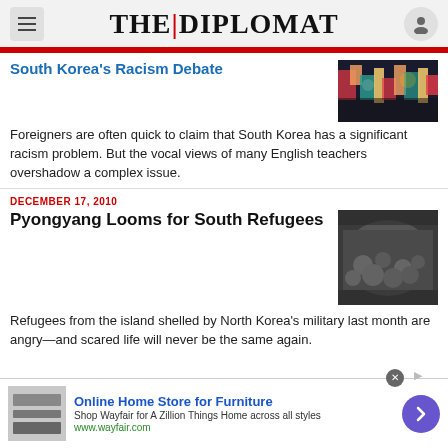THE DIPLOMAT
South Korea's Racism Debate
Foreigners are often quick to claim that South Korea has a significant racism problem. But the vocal views of many English teachers overshadow a complex issue.
DECEMBER 17, 2010
Pyongyang Looms for South Refugees
Refugees from the island shelled by North Korea's military last month are angry—and scared life will never be the same again.
[Figure (screenshot): Advertisement banner for Wayfair: Online Home Store for Furniture]